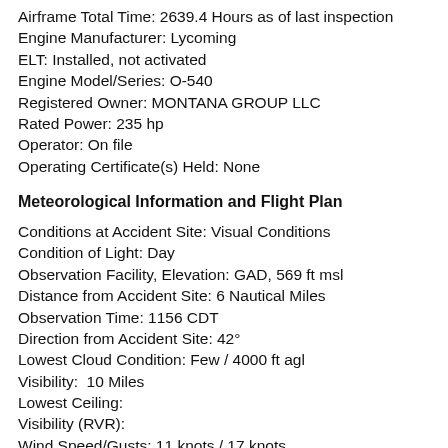Airframe Total Time: 2639.4 Hours as of last inspection
Engine Manufacturer: Lycoming
ELT: Installed, not activated
Engine Model/Series: O-540
Registered Owner: MONTANA GROUP LLC
Rated Power: 235 hp
Operator: On file
Operating Certificate(s) Held: None
Meteorological Information and Flight Plan
Conditions at Accident Site: Visual Conditions
Condition of Light: Day
Observation Facility, Elevation: GAD, 569 ft msl
Distance from Accident Site: 6 Nautical Miles
Observation Time: 1156 CDT
Direction from Accident Site: 42°
Lowest Cloud Condition: Few / 4000 ft agl
Visibility:  10 Miles
Lowest Ceiling:
Visibility (RVR):
Wind Speed/Gusts: 11 knots / 17 knots
Turbulence Type Forecast/Actual: